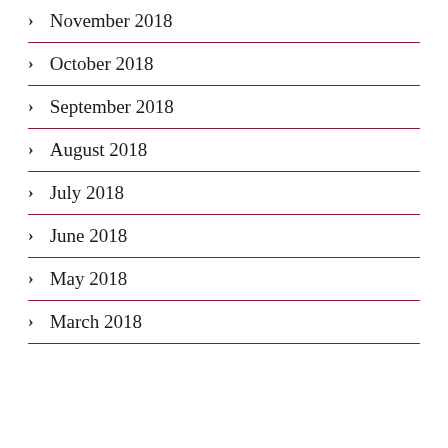November 2018
October 2018
September 2018
August 2018
July 2018
June 2018
May 2018
March 2018